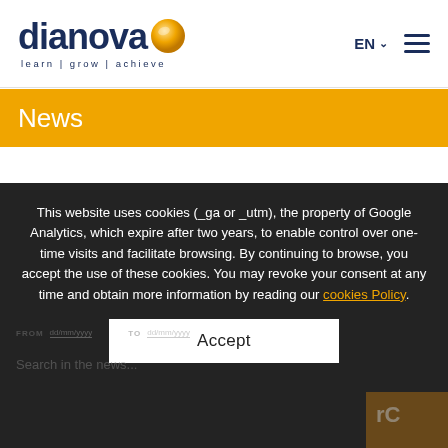[Figure (logo): Dianova logo with orange sphere, text 'dianova' in dark navy and tagline 'learn | grow | achieve']
EN  ☰
News
This website uses cookies (_ga or _utm), the property of Google Analytics, which expire after two years, to enable control over one-time visits and facilitate browsing. By continuing to browse, you accept the use of these cookies. You may revoke your consent at any time and obtain more information by reading our cookies Policy .
Accept